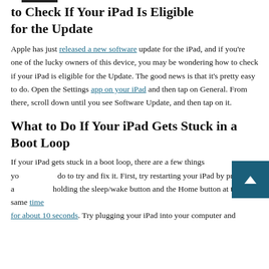to Check If Your iPad Is Eligible for the Update
Apple has just released a new software update for the iPad, and if you’re one of the lucky owners of this device, you may be wondering how to check if your iPad is eligible for the Update. The good news is that it’s pretty easy to do. Open the Settings app on your iPad and then tap on General. From there, scroll down until you see Software Update, and then tap on it.
What to Do If Your iPad Gets Stuck in a Boot Loop
If your iPad gets stuck in a boot loop, there are a few things you do to try and fix it. First, try restarting your iPad by pressing and holding the sleep/wake button and the Home button at the same time for about 10 seconds. Try plugging your iPad into your computer and